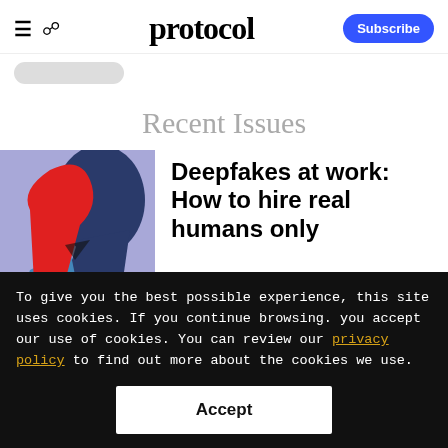protocol — Subscribe
Recent Issues
[Figure (illustration): Illustrated image of a stylized figure with a red elongated head/body shape against a blue/lavender background — abstract deepfakes visual]
Deepfakes at work: How to hire real humans only
To give you the best possible experience, this site uses cookies. If you continue browsing. you accept our use of cookies. You can review our privacy policy to find out more about the cookies we use.
Accept